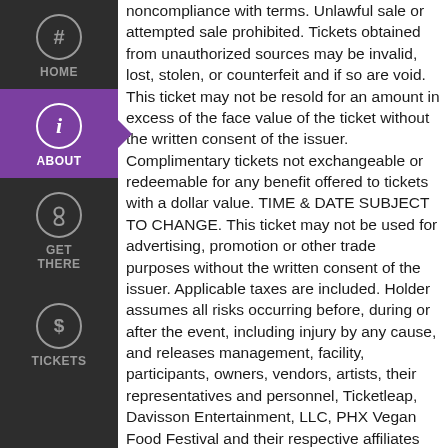[Figure (infographic): Dark sidebar navigation with HOME, ABOUT (active/highlighted in purple with arrow), GET THERE, and TICKETS nav items, each with circular icon]
noncompliance with terms. Unlawful sale or attempted sale prohibited. Tickets obtained from unauthorized sources may be invalid, lost, stolen, or counterfeit and if so are void. This ticket may not be resold for an amount in excess of the face value of the ticket without the written consent of the issuer. Complimentary tickets not exchangeable or redeemable for any benefit offered to tickets with a dollar value. TIME & DATE SUBJECT TO CHANGE. This ticket may not be used for advertising, promotion or other trade purposes without the written consent of the issuer. Applicable taxes are included. Holder assumes all risks occurring before, during or after the event, including injury by any cause, and releases management, facility, participants, owners, vendors, artists, their representatives and personnel, Ticketleap, Davisson Entertainment, LLC, PHX Vegan Food Festival and their respective affiliates and representatives from any related claims. Take care of your ticket, as it can't be replaced if lost, stolen or destroyed, and is valid only for the event and seat printed on the ticket. The barcode only allows one entry per scan. Unauthorized duplication or sale of this ticket may prevent your admittance to the event. By purchasing a ticket to entry into the event, the buyer understands that they may be included without knowledge or authorization on photography or videography recording means. The buyer